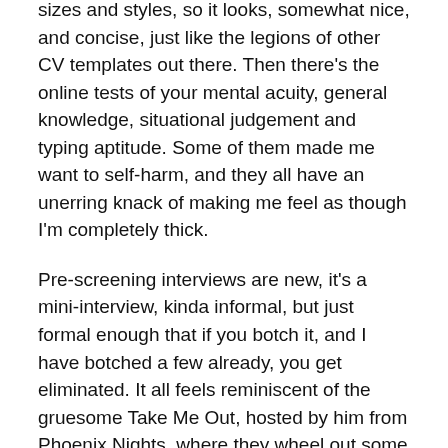sizes and styles, so it looks, somewhat nice, and concise, just like the legions of other CV templates out there. Then there's the online tests of your mental acuity, general knowledge, situational judgement and typing aptitude. Some of them made me want to self-harm, and they all have an unerring knack of making me feel as though I'm completely thick.
Pre-screening interviews are new, it's a mini-interview, kinda informal, but just formal enough that if you botch it, and I have botched a few already, you get eliminated. It all feels reminiscent of the gruesome Take Me Out, hosted by him from Phoenix Nights, where they wheel out some attention or sex starved soul in front of a baying mob of prospective dates/causal sex partners/Cilla Black friend zoners, and they get judged instantly, usually harshly –